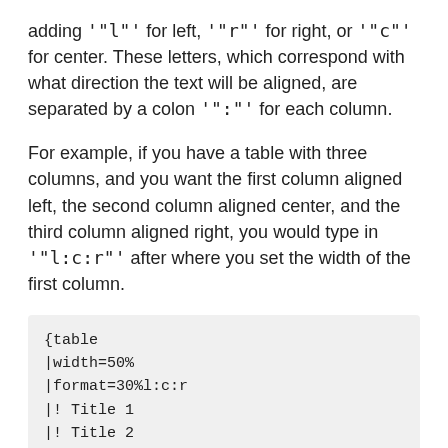adding '"l"' for left, '"r"' for right, or '"c"' for center. These letters, which correspond with what direction the text will be aligned, are separated by a colon '":"' for each column.
For example, if you have a table with three columns, and you want the first column aligned left, the second column aligned center, and the third column aligned right, you would type in '"l:c:r"' after where you set the width of the first column.
{table
|width=50%
|format=30%l:c:r
|! Title 1
|! Title 2
|! Title 3
}
If you used the syntax above, the table would appear as follows: